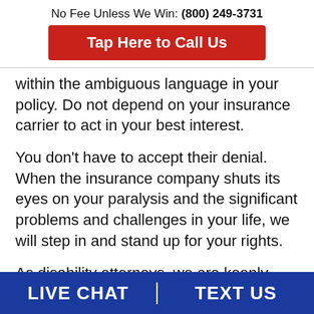No Fee Unless We Win: (800) 249-3731
Tap Here to Call Us
within the ambiguous language in your policy. Do not depend on your insurance carrier to act in your best interest.
You don’t have to accept their denial. When the insurance company shuts its eyes on your paralysis and the significant problems and challenges in your life, we will step in and stand up for your rights.
As disability attorneys, we are keenly aware of the strategies used by insurance companies to
LIVE CHAT | TEXT US